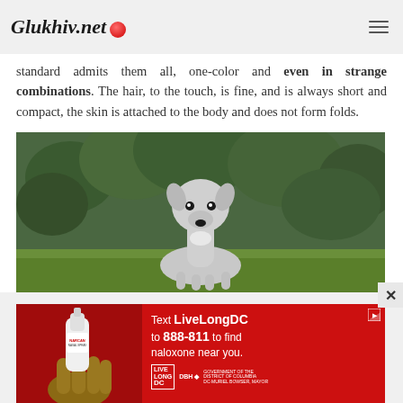Glukhiv.net
standard admits them all, one-color and even in strange combinations. The hair, to the touch, is fine, and is always short and compact, the skin is attached to the body and does not form folds.
[Figure (photo): A grey/white Italian Greyhound puppy sitting upright on grass, looking directly at camera, with green foliage in background]
[Figure (photo): Advertisement banner: red background with nasal spray product image on left, text 'Text LiveLongDC to 888-811 to find naloxone near you.' with Live Long DC and DC government logos]